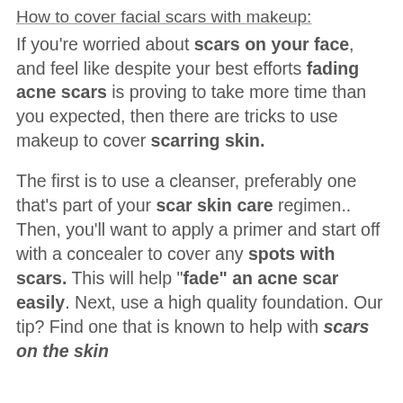How to cover facial scars with makeup:
If you're worried about scars on your face, and feel like despite your best efforts fading acne scars is proving to take more time than you expected, then there are tricks to use makeup to cover scarring skin.
The first is to use a cleanser, preferably one that's part of your scar skin care regimen.. Then, you'll want to apply a primer and start off with a concealer to cover any spots with scars. This will help "fade" an acne scar easily. Next, use a high quality foundation. Our tip? Find one that is known to help with scars on the skin